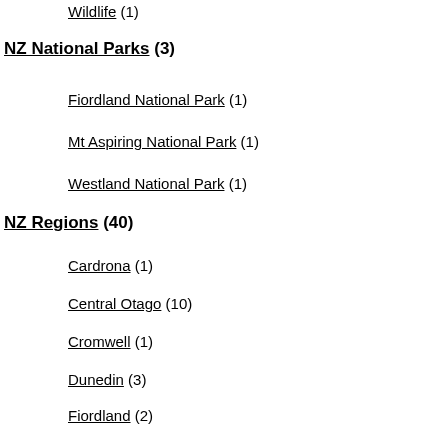Wildlife (1)
NZ National Parks (3)
Fiordland National Park (1)
Mt Aspiring National Park (1)
Westland National Park (1)
NZ Regions (40)
Cardrona (1)
Central Otago (10)
Cromwell (1)
Dunedin (3)
Fiordland (2)
Hawea (7)
Mackenzie Country (1)